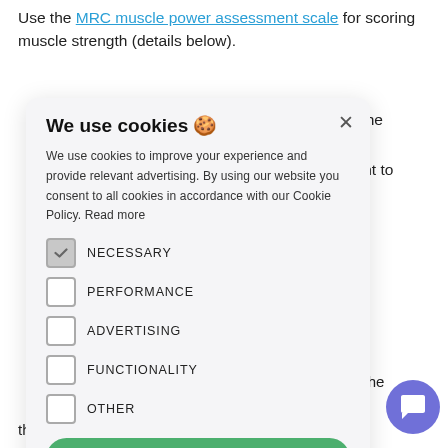Use the MRC muscle power assessment scale for scoring muscle strength (details below).
ions to the ... ment. ... he patient to
[Figure (screenshot): Cookie consent modal dialog with title 'We use cookies 🍪', body text about cookie policy, checkboxes for NECESSARY (checked), PERFORMANCE, ADVERTISING, FUNCTIONALITY, OTHER, and an ACCEPT ALL button. There is an X close button in the top right of the modal.]
eir leg off the ... r the an ... thigh. "Lift your leg off the bed and don't let me pu...